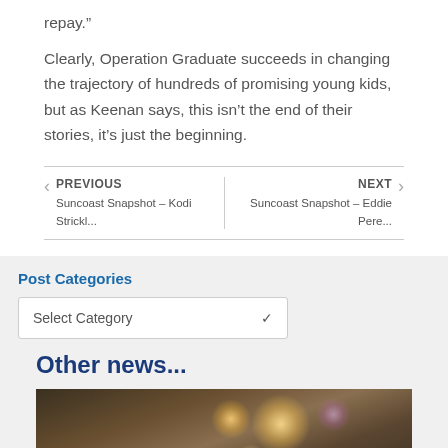repay.”
Clearly, Operation Graduate succeeds in changing the trajectory of hundreds of promising young kids, but as Keenan says, this isn’t the end of their stories, it’s just the beginning.
❮ PREVIOUS | Suncoast Snapshot – Kodi Strickl... | NEXT ❯ | Suncoast Snapshot – Eddie Pere...
Post Categories
Select Category
Other news...
[Figure (photo): Interior photo showing hanging pendant lights with warm yellow glow in a dimly lit room setting]